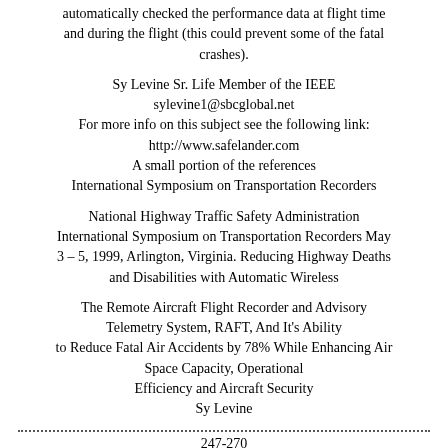automatically checked the performance data at flight time and during the flight (this could prevent some of the fatal crashes).
Sy Levine Sr. Life Member of the IEEE
sylevine1@sbcglobal.net
For more info on this subject see the following link:
http://www.safelander.com
A small portion of the references
International Symposium on Transportation Recorders
National Highway Traffic Safety Administration International Symposium on Transportation Recorders May 3 – 5, 1999, Arlington, Virginia. Reducing Highway Deaths and Disabilities with Automatic Wireless
The Remote Aircraft Flight Recorder and Advisory Telemetry System, RAFT, And It's Ability to Reduce Fatal Air Accidents by 78% While Enhancing Air Space Capacity, Operational Efficiency and Aircraft Security Sy Levine
247-270
SafeLander